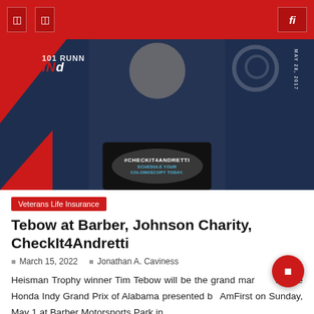Navigation bar with menu icons and search
[Figure (photo): Man smiling at a podium holding a sign that reads '#CHECKIT4ANDRETTI SCHEDULE YOUR COLONOSCOPY TODAY.' in front of an Indianapolis 500 promotional backdrop. Text visible: '101 RUNN', 'INd', 'MAY 28, 2017']
Veterans Life Insurance
Tebow at Barber, Johnson Charity, CheckIt4Andretti
March 15, 2022   Jonathan A. Caviness
Heisman Trophy winner Tim Tebow will be the grand marshal for the Honda Indy Grand Prix of Alabama presented by AmFirst on Sunday, May 1 at Barber Motorsports Park in